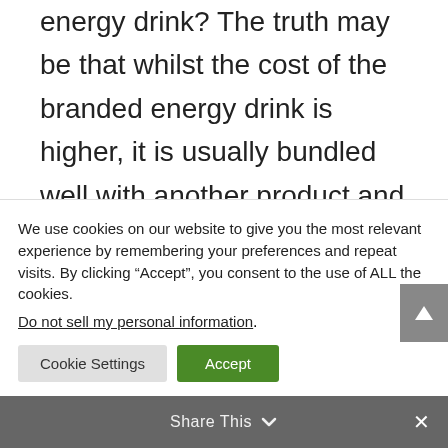energy drink? The truth may be that whilst the cost of the branded energy drink is higher, it is usually bundled well with another product and therefore the overall return is higher from selling that product over your in-house product. AI can help
We use cookies on our website to give you the most relevant experience by remembering your preferences and repeat visits. By clicking “Accept”, you consent to the use of ALL the cookies. Do not sell my personal information.
Cookie Settings
Accept
Share This
×